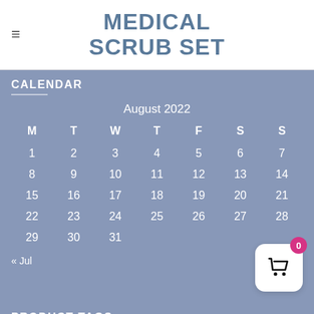MEDICAL SCRUB SET
CALENDAR
| M | T | W | T | F | S | S |
| --- | --- | --- | --- | --- | --- | --- |
| 1 | 2 | 3 | 4 | 5 | 6 | 7 |
| 8 | 9 | 10 | 11 | 12 | 13 | 14 |
| 15 | 16 | 17 | 18 | 19 | 20 | 21 |
| 22 | 23 | 24 | 25 | 26 | 27 | 28 |
| 29 | 30 | 31 |  |  |  |  |
« Jul
PRODUCT TAGS